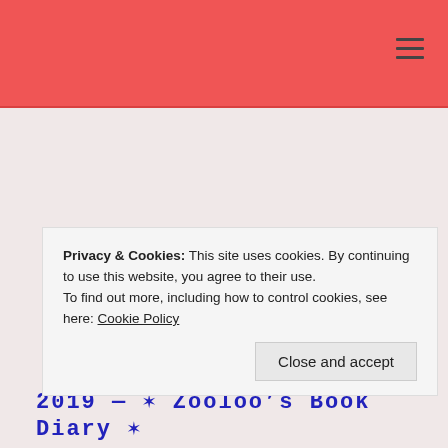Privacy & Cookies: This site uses cookies. By continuing to use this website, you agree to their use.
To find out more, including how to control cookies, see here: Cookie Policy
Close and accept
2019 — ✾ Zooloo's Book Diary ✾